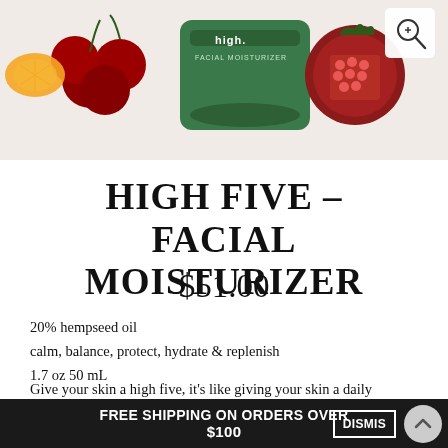[Figure (photo): Product photo of High Five Facial Moisturizer green jar surrounded by fruits (cherries, orange, pomegranate) on a light background with a zoom/magnify button in the top right corner.]
HIGH FIVE – FACIAL MOISTURIZER
$51.00
20% hempseed oil
calm, balance, protect, hydrate & replenish
1.7 oz 50 mL
Give your skin a high five, it's like giving your skin a daily multivitamin. High five is formulated with the highest potency antioxidants, pure plant essential oils, high potency antioxidants, pure plant essential oils, to leave your skin softer, balanced and moisturized.
FREE SHIPPING ON ORDERS OVER $100